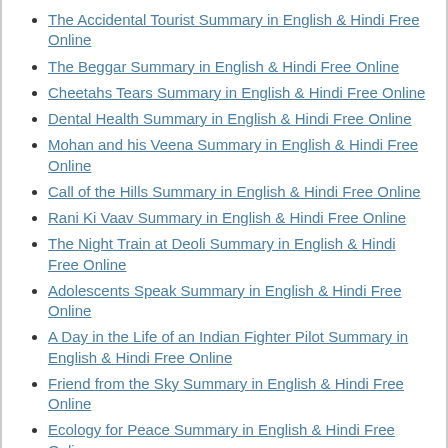The Accidental Tourist Summary in English & Hindi Free Online
The Beggar Summary in English & Hindi Free Online
Cheetahs Tears Summary in English & Hindi Free Online
Dental Health Summary in English & Hindi Free Online
Mohan and his Veena Summary in English & Hindi Free Online
Call of the Hills Summary in English & Hindi Free Online
Rani Ki Vaav Summary in English & Hindi Free Online
The Night Train at Deoli Summary in English & Hindi Free Online
Adolescents Speak Summary in English & Hindi Free Online
A Day in the Life of an Indian Fighter Pilot Summary in English & Hindi Free Online
Friend from the Sky Summary in English & Hindi Free Online
Ecology for Peace Summary in English & Hindi Free Online
Valley of Flowers Summary in English & Hindi Free Online
The River Poem Summary in English & Hindi Free Online